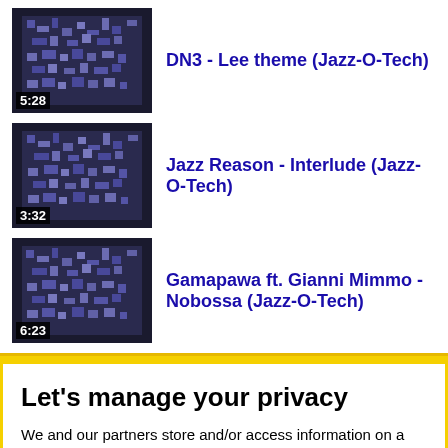DN3 - Lee theme (Jazz-O-Tech) [5:28]
Jazz Reason - Interlude (Jazz-O-Tech) [3:32]
Gamapawa ft. Gianni Mimmo - Nobossa (Jazz-O-Tech) [6:23]
Let's manage your privacy
We and our partners store and/or access information on a device, such as unique IDs in cookies to process personal data. You may accept or manage your choices by clicking below or at any time in the privacy policy page. These choices will be signaled to our partners and will not affect browsing data. Read our Cookie and Internet Advertising Policy
Cookies Settings
Accept All Cookies